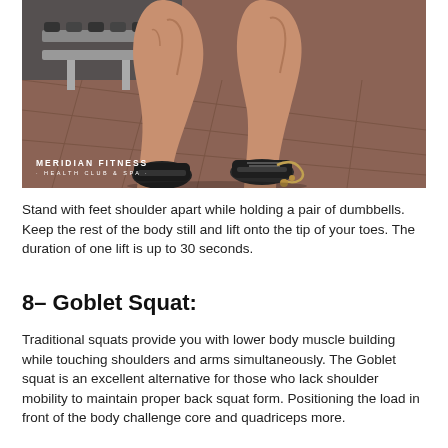[Figure (photo): Close-up photo of muscular legs and athletic shoes on a rubber tile floor near a dumbbell rack, with 'MERIDIAN FITNESS HEALTH CLUB & SPA' watermark in the lower left corner.]
Stand with feet shoulder apart while holding a pair of dumbbells. Keep the rest of the body still and lift onto the tip of your toes. The duration of one lift is up to 30 seconds.
8– Goblet Squat:
Traditional squats provide you with lower body muscle building while touching shoulders and arms simultaneously. The Goblet squat is an excellent alternative for those who lack shoulder mobility to maintain proper back squat form. Positioning the load in front of the body challenge core and quadriceps more.